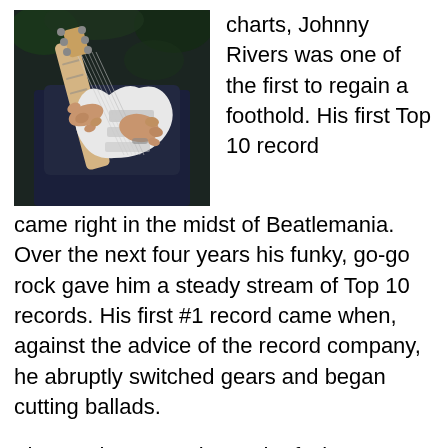[Figure (photo): A person playing an electric guitar (white Stratocaster-style), hands visible on the fretboard and body, dark background.]
charts, Johnny Rivers was one of the first to regain a foothold. His first Top 10 record came right in the midst of Beatlemania. Over the next four years his funky, go-go rock gave him a steady stream of Top 10 records. His first #1 record came when, against the advice of the record company, he abruptly switched gears and began cutting ballads.
The southern tone in much of Rivers’ music was authentic. Born in New York City on November 7, 1942, in New York City, when he was 5, his family moved to Baton Rouge, Louisiana, before first